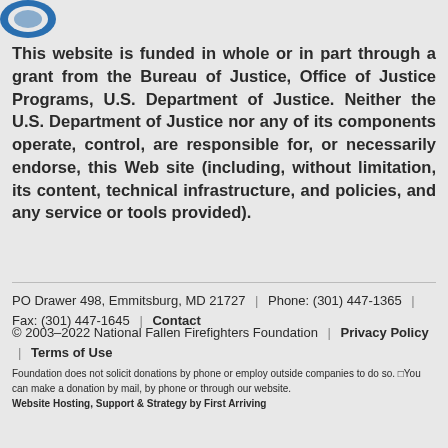[Figure (logo): Blue partial logo/shield shape in top left corner]
This website is funded in whole or in part through a grant from the Bureau of Justice, Office of Justice Programs, U.S. Department of Justice. Neither the U.S. Department of Justice nor any of its components operate, control, are responsible for, or necessarily endorse, this Web site (including, without limitation, its content, technical infrastructure, and policies, and any service or tools provided).
PO Drawer 498, Emmitsburg, MD 21727  |  Phone: (301) 447-1365  |  Fax: (301) 447-1645  |  Contact
© 2003–2022 National Fallen Firefighters Foundation  |  Privacy Policy  |  Terms of Use
Foundation does not solicit donations by phone or employ outside companies to do so. You can make a donation by mail, by phone or through our website.
Website Hosting, Support & Strategy by First Arriving